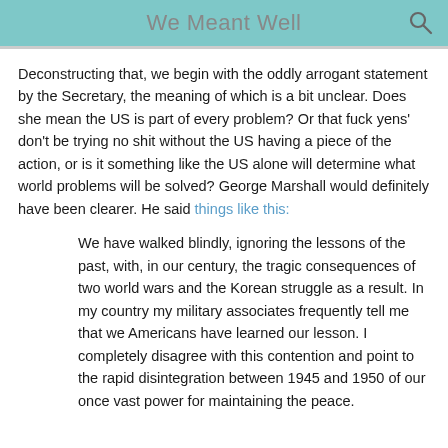We Meant Well
Deconstructing that, we begin with the oddly arrogant statement by the Secretary, the meaning of which is a bit unclear. Does she mean the US is part of every problem? Or that fuck yens' don't be trying no shit without the US having a piece of the action, or is it something like the US alone will determine what world problems will be solved? George Marshall would definitely have been clearer. He said things like this:
We have walked blindly, ignoring the lessons of the past, with, in our century, the tragic consequences of two world wars and the Korean struggle as a result. In my country my military associates frequently tell me that we Americans have learned our lesson. I completely disagree with this contention and point to the rapid disintegration between 1945 and 1950 of our once vast power for maintaining the peace.